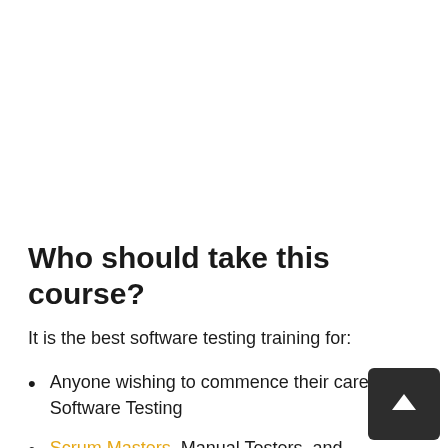Who should take this course?
It is the best software testing training for:
Anyone wishing to commence their career in Software Testing
Scrum Masters, Manual Testers, and